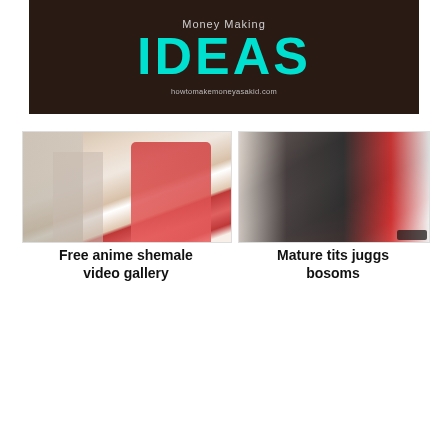[Figure (screenshot): Banner image with dark brown background showing large teal/cyan text 'IDEAS' and subtitle text 'howtomakemoneyasakid.com']
[Figure (photo): Photo of two people, one in white shirt and one in red lingerie/robe in a living room setting]
Free anime shemale video gallery
[Figure (photo): Photo of multiple people in dark clothing in a room with a red vase]
Mature tits juggs bosoms